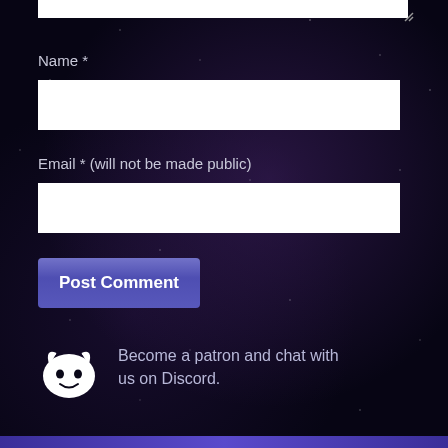[Figure (screenshot): Partial white textarea input box visible at top of page with resize handle]
Name *
[Figure (screenshot): White text input field for Name]
Email * (will not be made public)
[Figure (screenshot): White text input field for Email]
Post Comment
Become a patron and chat with us on Discord.